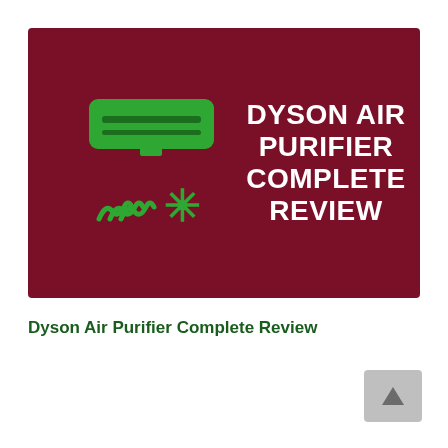[Figure (illustration): Dark red/maroon banner with a green air conditioner icon on the left (showing horizontal lines and heat/snowflake icons below) and white bold text on the right reading DYSON AIR PURIFIER COMPLETE REVIEW]
Dyson Air Purifier Complete Review